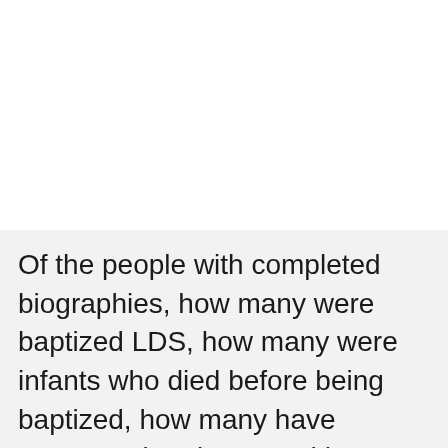Of the people with completed biographies, how many were baptized LDS, how many were infants who died before being baptized, how many have unproven baptisms, and how many were not LDS?